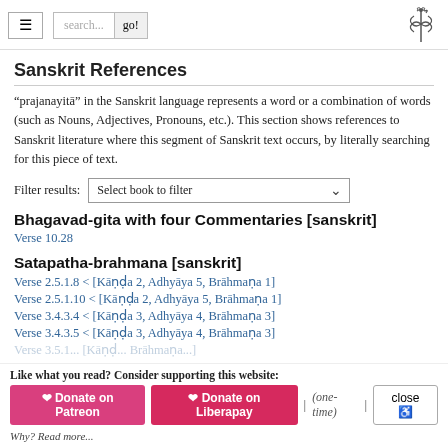[hamburger menu] [search box] [go! button] [logo]
Sanskrit References
“prajanayitā” in the Sanskrit language represents a word or a combination of words (such as Nouns, Adjectives, Pronouns, etc.). This section shows references to Sanskrit literature where this segment of Sanskrit text occurs, by literally searching for this piece of text.
Filter results:  Select book to filter
Bhagavad-gita with four Commentaries [sanskrit]
Verse 10.28
Satapatha-brahmana [sanskrit]
Verse 2.5.1.8 < [Kāṇḍa 2, Adhyāya 5, Brāhmaṇa 1]
Verse 2.5.1.10 < [Kāṇḍa 2, Adhyāya 5, Brāhmaṇa 1]
Verse 3.4.3.4 < [Kāṇḍa 3, Adhyāya 4, Brāhmaṇa 3]
Verse 3.4.3.5 < [Kāṇḍa 3, Adhyāya 4, Brāhmaṇa 3]
Like what you read? Consider supporting this website: Donate on Patreon | Donate on Liberapay | (one-time) | close. Why? Read more...